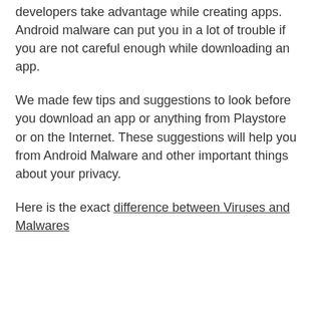developers take advantage while creating apps. Android malware can put you in a lot of trouble if you are not careful enough while downloading an app.
We made few tips and suggestions to look before you download an app or anything from Playstore or on the Internet. These suggestions will help you from Android Malware and other important things about your privacy.
Here is the exact difference between Viruses and Malwares